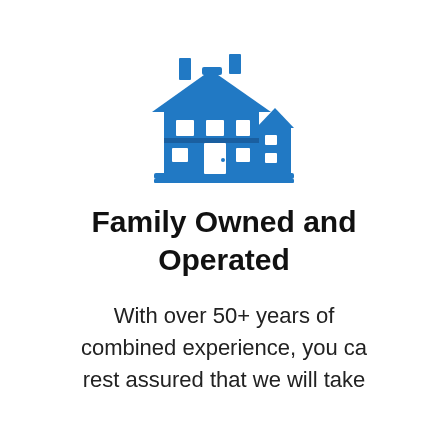[Figure (illustration): Blue icon of a house/building complex representing a family-owned business]
Family Owned and Operated
With over 50+ years of combined experience, you can rest assured that we will take